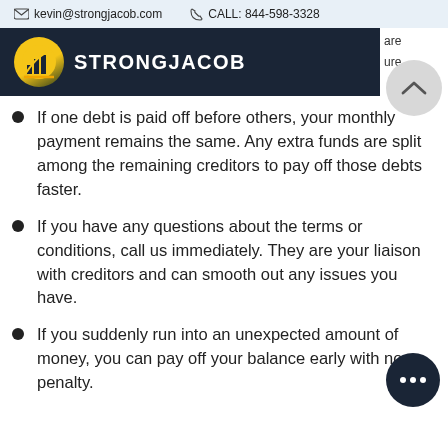kevin@strongjacob.com   CALL: 844-598-3328
[Figure (logo): StrongJacob logo with circular icon showing bar chart and brand name STRONGJACOB on dark navy background]
If one debt is paid off before others, your monthly payment remains the same. Any extra funds are split among the remaining creditors to pay off those debts faster.
If you have any questions about the terms or conditions, call us immediately. They are your liaison with creditors and can smooth out any issues you have.
If you suddenly run into an unexpected amount of money, you can pay off your balance early with no penalty.